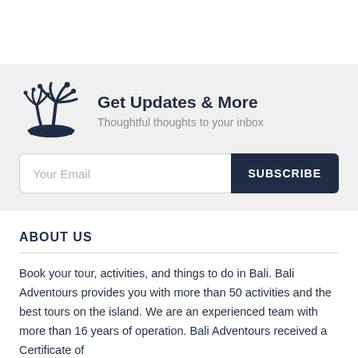[Figure (logo): Palm tree island logo icon in dark navy blue]
Get Updates & More
Thoughtful thoughts to your inbox
Your Email
SUBSCRIBE
ABOUT US
Book your tour, activities, and things to do in Bali. Bali Adventours provides you with more than 50 activities and the best tours on the island. We are an experienced team with more than 16 years of operation. Bali Adventours received a Certificate of